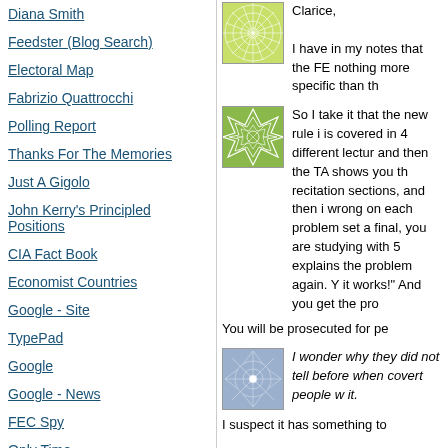Diana Smith
Feedster (Blog Search)
Electoral Map
Fabrizio Quattrocchi
Polling Report
Thanks For The Memories
Just A Gigolo
John Kerry's Principled Positions
CIA Fact Book
Economist Countries
Google - Site
TypePad
Google
Google - News
FEC Spy
Only Time
Iowa Elec. Markets
White House Press
[Figure (illustration): Green sunburst/radial pattern avatar icon]
Clarice,

I have in my notes that the FE nothing more specific than th
[Figure (illustration): Green geometric/voronoi pattern avatar icon]
So I take it that the new rule i is covered in 4 different lectur and then the TA shows you th recitation sections, and then i wrong on each problem set a final, you are studying with 5 explains the problem again. Y it works!" And you get the pro

You will be prosecuted for pe
[Figure (illustration): Blue/purple snowflake/star pattern avatar icon]
I wonder why they did not tell before when covert people w it.

I suspect it has something to